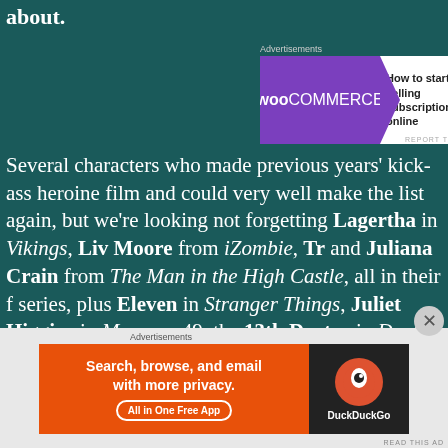about.
[Figure (screenshot): WooCommerce advertisement banner: 'How to start selling subscriptions online']
Several characters who made previous years' kick-ass heroine film and could very well make the list again, but we're looking not forgetting Lagertha in Vikings, Liv Moore from iZombie, Tr and Juliana Crain from The Man in the High Castle, all in their f series, plus Eleven in Stranger Things, Juliet Higgins in Magnum 49, the 13th Doctor in Doctor Who, Betty Cooper from Riverdale, and Ms. Wardwell from The Chilling Adventures of Sabrina. At th Wasp, and Okoye were back, this time in Avengers: Endgame, M returned in Jumanji: Welcome to the Jungle, and Rey was back on The Rise of Skywalker. This year we add a mystic, a former Russ an adventurer, an undercover cop, a bounty hunter, a gang...
[Figure (screenshot): DuckDuckGo advertisement: 'Search, browse, and email with more privacy. All in One Free App']